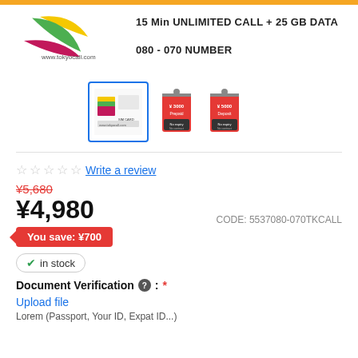[Figure (logo): TokyoCall logo with colorful leaf shapes and www.tokyocall.com text]
15 Min UNLIMITED CALL + 25 GB DATA
080 - 070 NUMBER
[Figure (screenshot): Three product thumbnails: first selected with blue border showing SIM card product, second and third showing red price tag images with yen amounts]
Write a review
¥5,680
¥4,980
You save: ¥700
CODE: 5537080-070TKCALL
in stock
Document Verification : *
Upload file
Lorem (Passport, Your ID, Expat ID...)